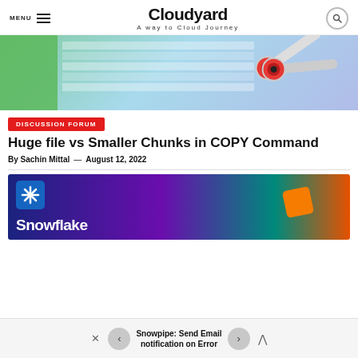MENU | Cloudyard — A way to Cloud Journey
[Figure (illustration): Scissors cutting a spreadsheet/table, with green panel on left and blue/purple background. Article thumbnail for COPY command article.]
DISCUSSION FORUM
Huge file vs Smaller Chunks in COPY Command
By Sachin Mittal — August 12, 2022
[Figure (illustration): Snowflake logo on blue/purple/teal gradient banner with orange box element. Article thumbnail for Snowpipe article.]
Snowpipe: Send Email notification on Error